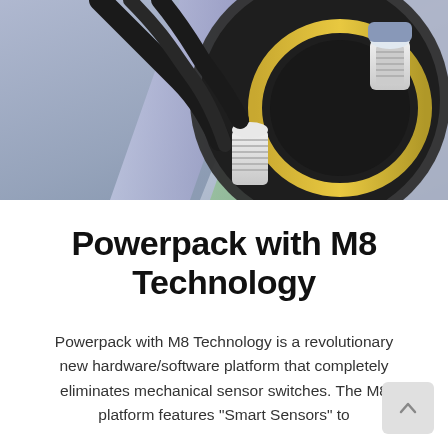[Figure (illustration): Technical cross-section illustration of a cylindrical mechanical component (Powerpack with M8 Technology), showing internal parts including cables, connectors, threads, seals, and gear/ring elements rendered in 3D with colors including gray, purple, green, gold, and white.]
Powerpack with M8 Technology
Powerpack with M8 Technology is a revolutionary new hardware/software platform that completely eliminates mechanical sensor switches. The M8 platform features "Smart Sensors" to